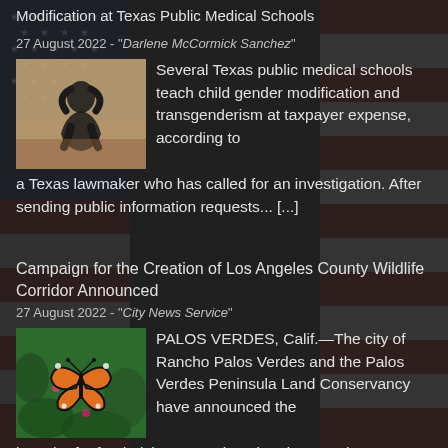Modification at Texas Public Medical Schools
27 August 2022 - "Darlene McCormick Sanchez"
Several Texas public medical schools teach child gender modification and transgenderism at taxpayer expense, according to a Texas lawmaker who has called for an investigation. After sending public information requests... [...]
Campaign for the Creation of Los Angeles County Wildlife Corridor Announced
27 August 2022 - "City News Service"
PALOS VERDES, Calif.—The city of Rancho Palos Verdes and the Palos Verdes Peninsula Land Conservancy have announced the launch of a fundraising campaign aimed at creating a 96-acre Los Angeles... [...]